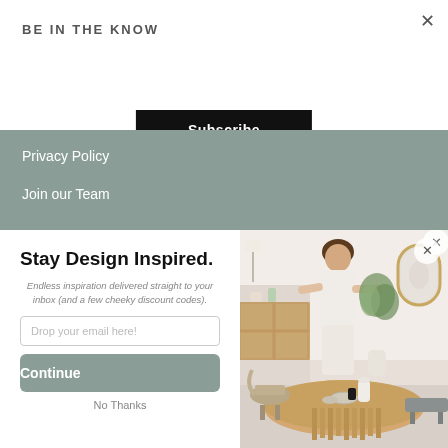×
BE IN THE KNOW
Subscribe
Privacy Policy
Join our Team
Stay Design Inspired.
Endless inspiration delivered straight to your inbox (and a few cheeky discount codes).
Drop your email here!
Continue
No Thanks
[Figure (photo): Interior design photo showing a woman arranging a plant on a wooden cabinet in a bright room with a round dining table, wicker/rattan chairs, an arch mirror, and a lamp in the background.]
×